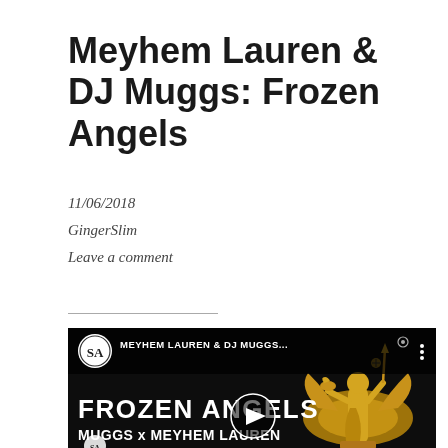Meyhem Lauren & DJ Muggs: Frozen Angels
11/06/2018
GingerSlim
Leave a comment
[Figure (screenshot): YouTube video thumbnail/player for 'Meyhem Lauren & DJ Muggs - Frozen Angels'. Black background with golden angel statue on the right. Large white bold text reads 'FROZEN ANGELS' and 'MUGGS x MEYHEM LAUREN'. A circular play button is centered. Channel logo (SA monogram in circle) appears in top-left of the video bar along with the video title 'MEYHEM LAUREN & DJ MUGGS...' and three-dot menu icon.]